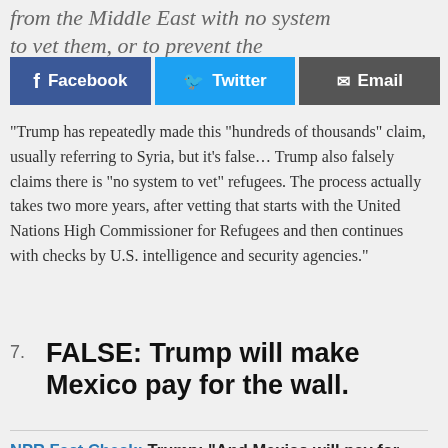from the Middle East with no system to vet them, or to prevent the
[Figure (infographic): Social share buttons: Facebook (blue), Twitter (light blue), Email (dark gray)]
“Trump has repeatedly made this “hunreds of thousands” claim, usually referring to Syria, but it’s false… Trump also falsely claims there is “no system to vet” refugees. The process actually takes two more years, after vetting that starts with the United Nations High Commissioner for Refugees and then continues with checks by U.S. intelligence and security agencies.”
7. FALSE: Trump will make Mexico pay for the wall.
NPR Fact Check: Trump: “And Mexico will pay for the wall. 100 percent.” // Mexican President “would not pay” for the wall.